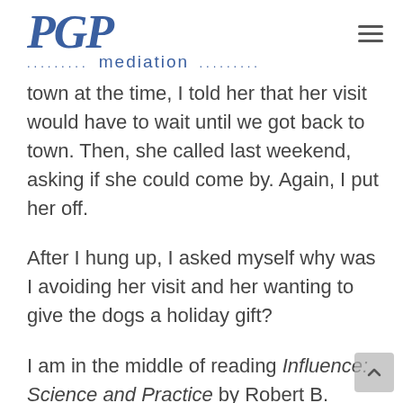PGP mediation
town at the time, I told her that her visit would have to wait until we got back to town. Then, she called last weekend, asking if she could come by. Again, I put her off.
After I hung up, I asked myself why was I avoiding her visit and her wanting to give the dogs a holiday gift?
I am in the middle of reading Influence: Science and Practice by Robert B. Cialdini (4th ed. 2001) for a book club meeting early